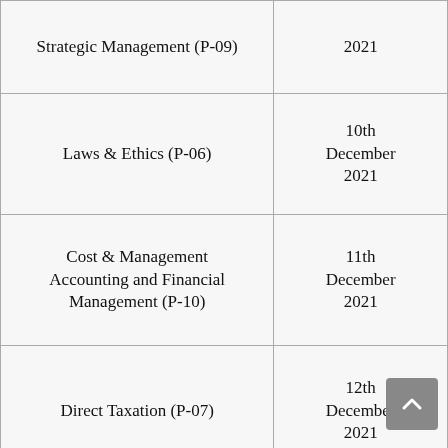| Subject | Date |
| --- | --- |
| Strategic Management (P-09) | 2021 |
| Laws & Ethics (P-06) | 10th December 2021 |
| Cost & Management Accounting and Financial Management (P-10) | 11th December 2021 |
| Direct Taxation (P-07) | 12th December 2021 |
| Indirect Taxation (P-11) | 13th December 2021 |